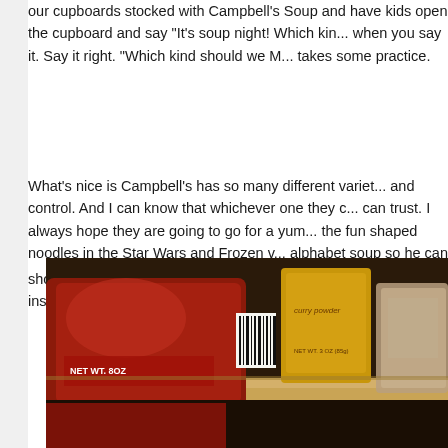our cupboards stocked with Campbell's Soup and have kids open the cupboard and say "It's soup night! Which kind... when you say it. Say it right. "Which kind should we M... takes some practice.
What's nice is Campbell's has so many different variet... and control. And I can know that whichever one they c... can trust. I always hope they are going to go for a yum... the fun shaped noodles in the Star Wars and Frozen v... alphabet soup so he can shout out the letters he finds. ... NoodleO's® Soup and he still insisted on shouting eve...
[Figure (photo): A close-up photo of a pantry shelf showing food items including a red bag labeled NET WT. 8OZ and a yellow container labeled curry powder, along with other packaged goods on a wooden shelf.]